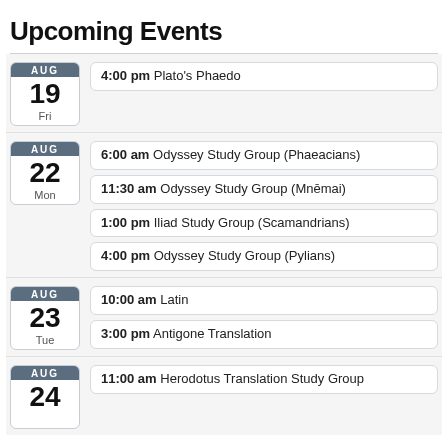Upcoming Events
AUG 19 Fri — 4:00 pm Plato's Phaedo
AUG 22 Mon — 6:00 am Odyssey Study Group (Phaeacians)
AUG 22 Mon — 11:30 am Odyssey Study Group (Mnēmai)
AUG 22 Mon — 1:00 pm Iliad Study Group (Scamandrians)
AUG 22 Mon — 4:00 pm Odyssey Study Group (Pylians)
AUG 23 Tue — 10:00 am Latin
AUG 23 Tue — 3:00 pm Antigone Translation
AUG 24 — 11:00 am Herodotus Translation Study Group